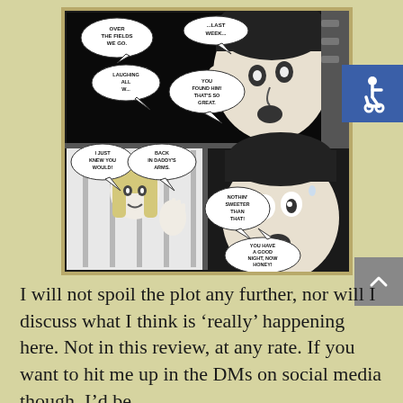[Figure (illustration): Comic book panels in black and white showing two scenes. Top panel: speech bubbles read 'OVER THE FIELDS WE GO.', '...LAST WEEK...', 'LAUGHING ALL W...', 'YOU FOUND HIM! THAT'S SO GREAT.' with a close-up of a man's face looking shocked. Bottom panel: A blonde woman seen through bars with speech bubbles 'I JUST KNEW YOU WOULD!', 'BACK IN DADDY'S ARMS.', 'NOTHIN' SWEETER THAN THAT!', 'YOU HAVE A GOOD NIGHT, NOW HONEY!' and a man's face looking distressed.]
[Figure (logo): Accessibility icon — white wheelchair symbol on blue background]
I will not spoil the plot any further, nor will I discuss what I think is 'really' happening here. Not in this review, at any rate. If you want to hit me up in the DMs on social media though, I'd be